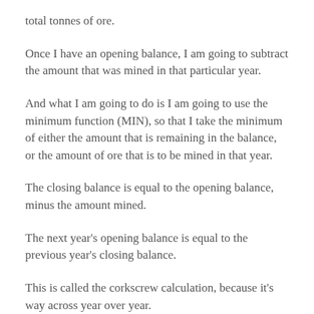total tonnes of ore.
Once I have an opening balance, I am going to subtract the amount that was mined in that particular year.
And what I am going to do is I am going to use the minimum function (MIN), so that I take the minimum of either the amount that is remaining in the balance, or the amount of ore that is to be mined in that year.
The closing balance is equal to the opening balance, minus the amount mined.
The next year's opening balance is equal to the previous year's closing balance.
This is called the corkscrew calculation, because it's way across year over year.